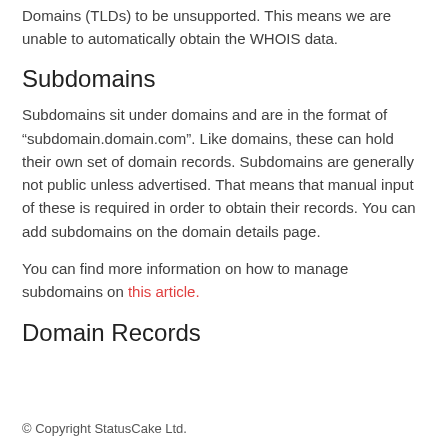Domains (TLDs) to be unsupported. This means we are unable to automatically obtain the WHOIS data.
Subdomains
Subdomains sit under domains and are in the format of “subdomain.domain.com”. Like domains, these can hold their own set of domain records. Subdomains are generally not public unless advertised. That means that manual input of these is required in order to obtain their records. You can add subdomains on the domain details page.
You can find more information on how to manage subdomains on this article.
Domain Records
© Copyright StatusCake Ltd.